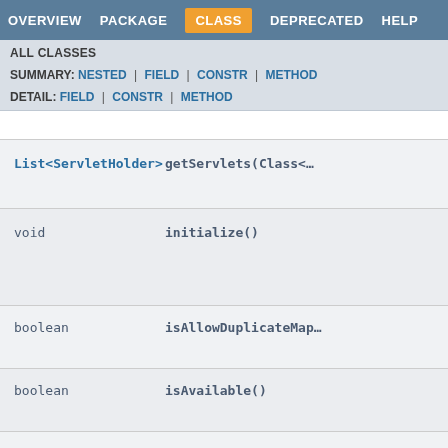OVERVIEW | PACKAGE | CLASS | DEPRECATED | HELP
ALL CLASSES
SUMMARY: NESTED | FIELD | CONSTR | METHOD
DETAIL: FIELD | CONSTR | METHOD
| Type | Method |
| --- | --- |
| List<ServletHolder> | getServlets(Class<... |
| void | initialize() |
| boolean | isAllowDuplicateMap... |
| boolean | isAvailable() |
| boolean | isDumpable(Object o... |
| boolean | isEnsureDefaultSer... |